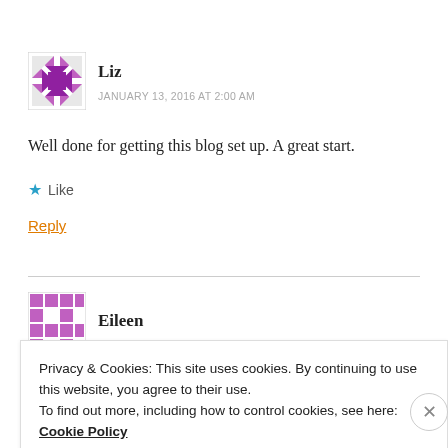[Figure (illustration): Avatar icon for user Liz - purple geometric pattern with X shape on white background]
Liz
JANUARY 13, 2016 AT 2:00 AM
Well done for getting this blog set up. A great start.
★ Like
Reply
[Figure (illustration): Avatar icon for user Eileen - purple geometric pattern]
Eileen
Privacy & Cookies: This site uses cookies. By continuing to use this website, you agree to their use. To find out more, including how to control cookies, see here: Cookie Policy
Close and accept